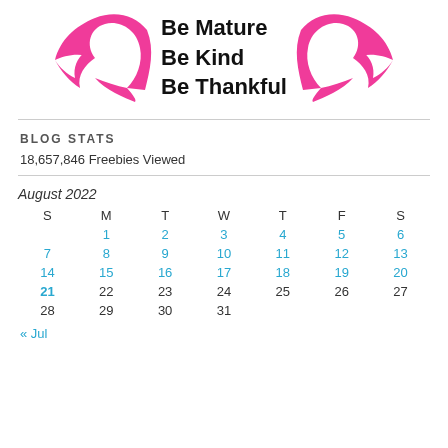[Figure (logo): Pink wings logo with text 'Be Mature Be Kind Be Thankful' in cursive/script black font]
BLOG STATS
18,657,846 Freebies Viewed
| S | M | T | W | T | F | S |
| --- | --- | --- | --- | --- | --- | --- |
|  | 1 | 2 | 3 | 4 | 5 | 6 |
| 7 | 8 | 9 | 10 | 11 | 12 | 13 |
| 14 | 15 | 16 | 17 | 18 | 19 | 20 |
| 21 | 22 | 23 | 24 | 25 | 26 | 27 |
| 28 | 29 | 30 | 31 |  |  |  |
« Jul